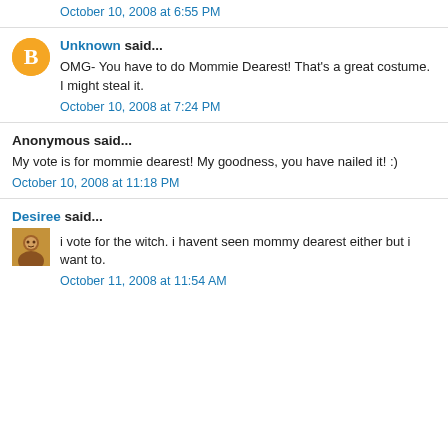October 10, 2008 at 6:55 PM
Unknown said...
OMG- You have to do Mommie Dearest! That's a great costume. I might steal it.
October 10, 2008 at 7:24 PM
Anonymous said...
My vote is for mommie dearest! My goodness, you have nailed it! :)
October 10, 2008 at 11:18 PM
Desiree said...
i vote for the witch. i havent seen mommy dearest either but i want to.
October 11, 2008 at 11:54 AM